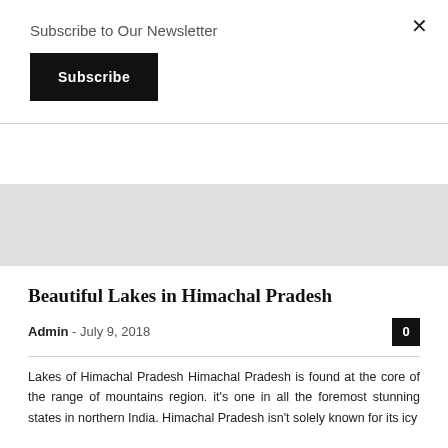Subscribe to Our Newsletter
Subscribe
×
Beautiful Lakes in Himachal Pradesh
Admin  - July 9, 2018   0
Lakes of Himachal Pradesh Himachal Pradesh is found at the core of the range of mountains region. it's one in all the foremost stunning states in northern India. Himachal Pradesh isn't solely known for its icy